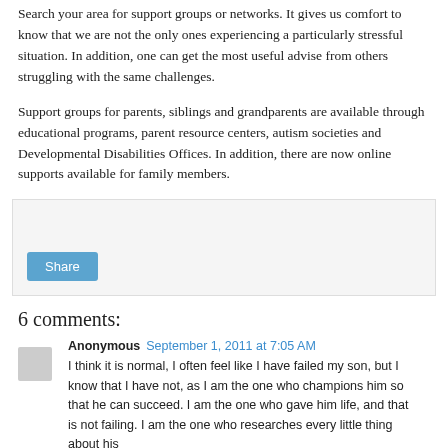Search your area for support groups or networks. It gives us comfort to know that we are not the only ones experiencing a particularly stressful situation. In addition, one can get the most useful advise from others struggling with the same challenges.
Support groups for parents, siblings and grandparents are available through educational programs, parent resource centers, autism societies and Developmental Disabilities Offices. In addition, there are now online supports available for family members.
[Figure (other): Share button box with a light gray background and a blue Share button]
6 comments:
Anonymous  September 1, 2011 at 7:05 AM
I think it is normal, I often feel like I have failed my son, but I know that I have not, as I am the one who champions him so that he can succeed. I am the one who gave him life, and that is not failing. I am the one who researches every little thing about his